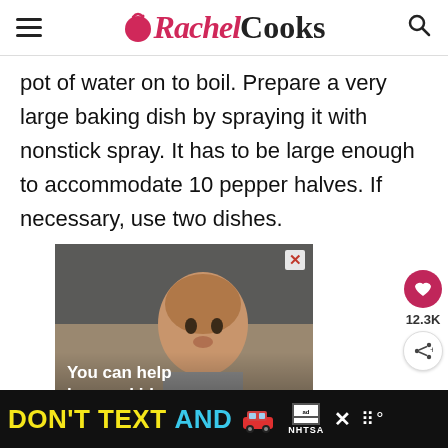Rachel Cooks
pot of water on to boil. Prepare a very large baking dish by spraying it with nonstick spray. It has to be large enough to accommodate 10 pepper halves. If necessary, use two dishes.
[Figure (photo): Photo of a young child eating, with overlay text 'You can help hungry kids.' — an advertisement]
[Figure (infographic): Bottom banner advertisement: DON'T TEXT AND [car emoji] — NHTSA advertisement with close button]